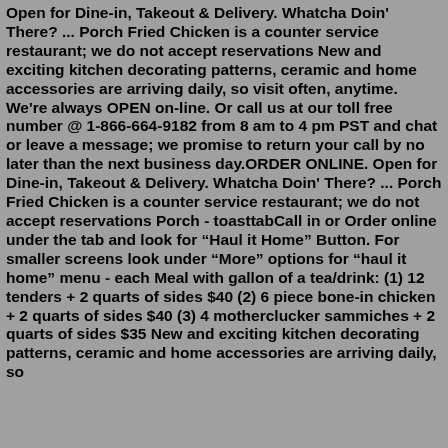Open for Dine-in, Takeout & Delivery. Whatcha Doin' There? ... Porch Fried Chicken is a counter service restaurant; we do not accept reservations New and exciting kitchen decorating patterns, ceramic and home accessories are arriving daily, so visit often, anytime. We're always OPEN on-line. Or call us at our toll free number @ 1-866-664-9182 from 8 am to 4 pm PST and chat or leave a message; we promise to return your call by no later than the next business day.ORDER ONLINE. Open for Dine-in, Takeout & Delivery. Whatcha Doin' There? ... Porch Fried Chicken is a counter service restaurant; we do not accept reservations Porch - toasttabCall in or Order online under the tab and look for “Haul it Home” Button. For smaller screens look under “More” options for “haul it home” menu - each Meal with gallon of a tea/drink: (1) 12 tenders + 2 quarts of sides $40 (2) 6 piece bone-in chicken + 2 quarts of sides $40 (3) 4 motherclucker sammiches + 2 quarts of sides $35 New and exciting kitchen decorating patterns, ceramic and home accessories are arriving daily, so